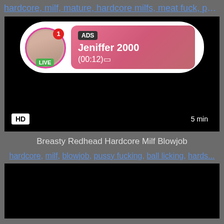hardcore milf mature hardcore milfs meat fuck pussy...
[Figure (screenshot): Video thumbnail with dark/black background, HD badge bottom-left, '5 min' badge bottom-right, and an ad overlay popup showing a live stream notification for 'jeniffer 2000' with a profile avatar, LIVE badge, notification badge '1', ADS label, and time '(00:12)']
Breasty Redhead Hardcore Milf Blowjob
hardcore, milf, blowjob, pussy fucking, ball licking, hards...
[Figure (screenshot): Second video thumbnail with dark/black background, partially visible at bottom of page]